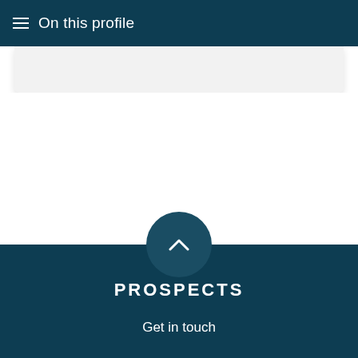On this profile
[Figure (screenshot): Light gray card/panel area below the navigation header]
[Figure (other): Dark teal circular back-to-top button with a chevron/caret pointing upward]
PROSPECTS
Get in touch